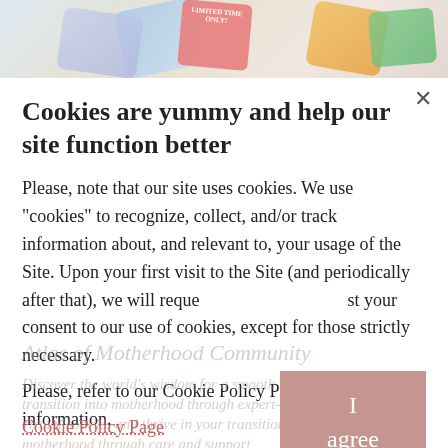[Figure (screenshot): Background showing app/product cards and website content partially visible behind the cookie consent dialog]
Cookies are yummy and help our site function better
Please, note that our site uses cookies. We use "cookies" to recognize, collect, and/or track information about, and relevant to, your usage of the Site. Upon your first visit to the Site (and periodically after that), we will request your consent to our use of cookies, except for those strictly necessary.
Please, refer to our Cookie Policy Page for more information.
Cookie Policy Page